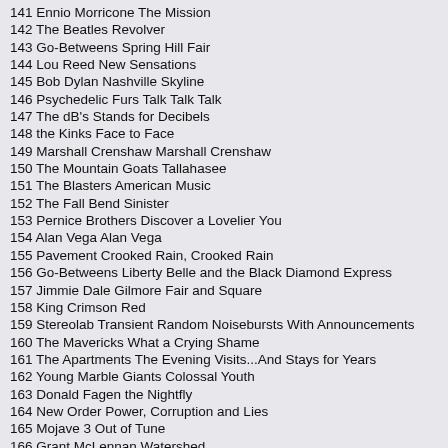141 Ennio Morricone The Mission
142 The Beatles Revolver
143 Go-Betweens Spring Hill Fair
144 Lou Reed New Sensations
145 Bob Dylan Nashville Skyline
146 Psychedelic Furs Talk Talk Talk
147 The dB's Stands for Decibels
148 the Kinks Face to Face
149 Marshall Crenshaw Marshall Crenshaw
150 The Mountain Goats Tallahasee
151 The Blasters American Music
152 The Fall Bend Sinister
153 Pernice Brothers Discover a Lovelier You
154 Alan Vega Alan Vega
155 Pavement Crooked Rain, Crooked Rain
156 Go-Betweens Liberty Belle and the Black Diamond Express
157 Jimmie Dale Gilmore Fair and Square
158 King Crimson Red
159 Stereolab Transient Random Noisebursts With Announcements
160 The Mavericks What a Crying Shame
161 The Apartments The Evening Visits...And Stays for Years
162 Young Marble Giants Colossal Youth
163 Donald Fagen the Nightfly
164 New Order Power, Corruption and Lies
165 Mojave 3 Out of Tune
166 Grant McLennan Watershed
167 The Feelies The Good Earth
168 The Blue Nile A Walk Across The Rooftops
169 The Fall Totale's Turns
170 Go-Betweens 16 Lover's Lane
171 American Music Club Everclear
172 King Crimson Discipline
173 Public Image Ltd Album
174 That Petrol Emotion Babble
175 World Party Goodbye Jumbo
176 Lucinda Williams Lucinda Williams
177 Autechre Tri Repetae